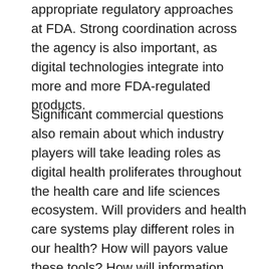appropriate regulatory approaches at FDA. Strong coordination across the agency is also important, as digital technologies integrate into more and more FDA-regulated products.
Significant commercial questions also remain about which industry players will take leading roles as digital health proliferates throughout the health care and life sciences ecosystem. Will providers and health care systems play different roles in our health? How will payors value these tools? How will information about pharmaceuticals or traditional devices be integrated into clinical and patient decision-making? How do we handle data privacy and security issues presented by these